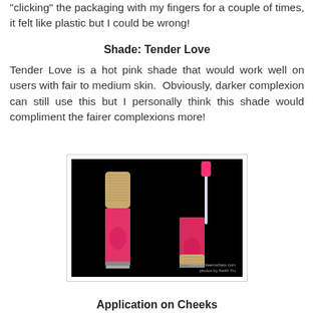"clicking" the packaging with my fingers for a couple of times, it felt like plastic but I could be wrong!
Shade: Tender Love
Tender Love is a hot pink shade that would work well on users with fair to medium skin. Obviously, darker complexion can still use this but I personally think this shade would compliment the fairer complexions more!
[Figure (photo): Two lip gloss tubes on a black background — one closed with a bamboo cap on the left, one open with applicator wand extended on the right. Both show hot pink/red product. Watermark reads www.ashleemwhats.com photos by Keith Yiu]
Application on Cheeks